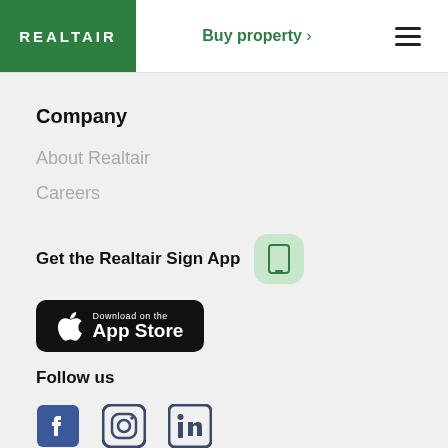REALTAIR  Buy property >  ☰
Company
About Realtair
Careers
Get the Realtair Sign App
[Figure (screenshot): App Store download button for Realtair Sign App on Apple App Store]
Follow us
[Figure (other): Social media icons: Facebook, Instagram, LinkedIn]